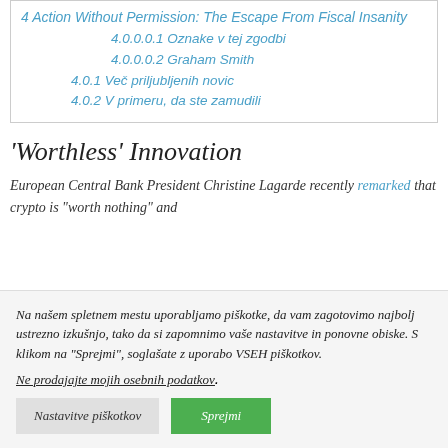4 Action Without Permission: The Escape From Fiscal Insanity
4.0.0.0.1 Oznake v tej zgodbi
4.0.0.0.2 Graham Smith
4.0.1 Več priljubljenih novic
4.0.2 V primeru, da ste zamudili
‘Worthless’ Innovation
European Central Bank President Christine Lagarde recently remarked that crypto is “worth nothing” and
Na našem spletnem mestu uporabljamo piškotke, da vam zagotovimo najbolj ustrezno izkušnjo, tako da si zapomnimo vaše nastavitve in ponovne obiske. S klikom na "Sprejmi", soglašate z uporabo VSEH piškotkov. Ne prodajajte mojih osebnih podatkov.
Nastavitve piškotkov
Sprejmi